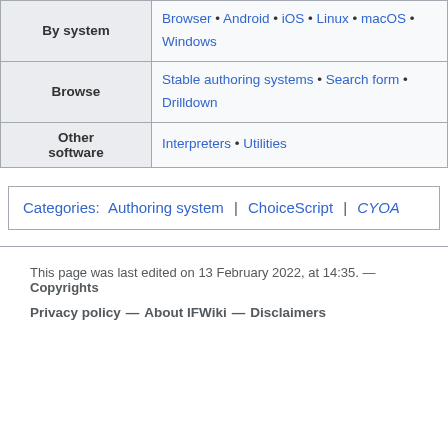| By system | Browser • Android • iOS • Linux • macOS • Windows |
| Browse | Stable authoring systems • Search form • Drilldown |
| Other software | Interpreters • Utilities |
Categories: Authoring system | ChoiceScript | CYOA
This page was last edited on 13 February 2022, at 14:35. — Copyrights
Privacy policy — About IFWiki — Disclaimers